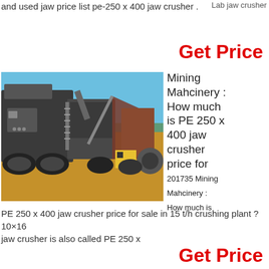Lab jaw crusher
and used jaw price list pe-250 x 400 jaw crusher .
Get Price
[Figure (photo): Large mobile jaw crusher / mining machinery on a construction site with blue sky and dirt ground background]
Mining Mahcinery : How much is PE 250 x 400 jaw crusher price for 201735 Mining Mahcinery : How much is
PE 250 x 400 jaw crusher price for sale in 15 t/h crushing plant ? 10×16 jaw crusher is also called PE 250 x
Get Price